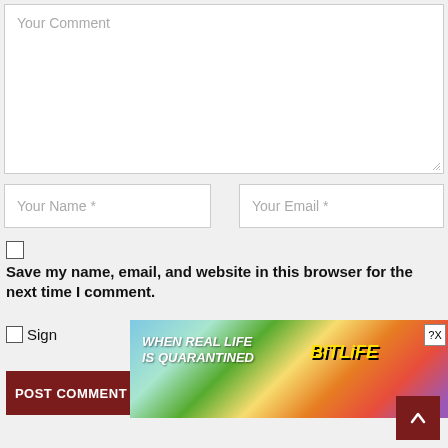[Figure (screenshot): Comment form textarea with placeholder 'Your Comment']
[Figure (screenshot): Name input field with placeholder 'Your Name *']
[Figure (screenshot): Email input field with placeholder 'Your Email *']
Save my name, email, and website in this browser for the next time I comment.
Sign
[Figure (screenshot): POST COMMENT button and BitLife advertisement overlay]
[Figure (screenshot): Scroll to top button (arrow up)]